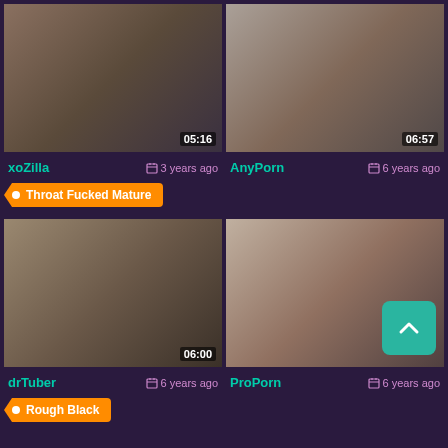[Figure (photo): Video thumbnail top-left with duration 05:16]
[Figure (photo): Video thumbnail top-right with duration 06:57]
xoZilla   3 years ago
AnyPorn   6 years ago
Throat Fucked Mature
[Figure (photo): Video thumbnail bottom-left with duration 06:00]
[Figure (photo): Video thumbnail bottom-right with scroll button]
drTuber   6 years ago
ProPorn   6 years ago
Rough Black